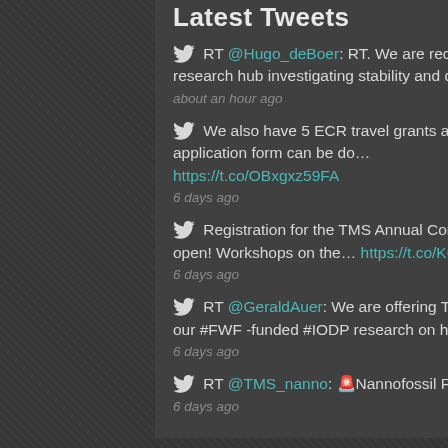Latest Tweets
RT @Hugo_deBoer: RT. We are recruiting a competitive postdoc to contribute to our STADIS research hub investigating stability and discontin…
about an hour ago
We also have 5 ECR travel grants available to help you attend the Annual Conference. The application form can be do… https://t.co/OBxgxz59FA
6 days ago
Registration for the TMS Annual Conference taking place in Bremen on 10-11 November is now open! Workshops on the… https://t.co/KQZc2x09wH
6 days ago
RT @GeraldAuer: We are offering TWO #micropaleontology #PhDpositions in #Graz, #Austria! Join our #FWF -funded #IODP research on how Indian…
6 days ago
RT @TMS_nanno: 🚨Nannofossil PhD opportunity! 🚨
6 days ago